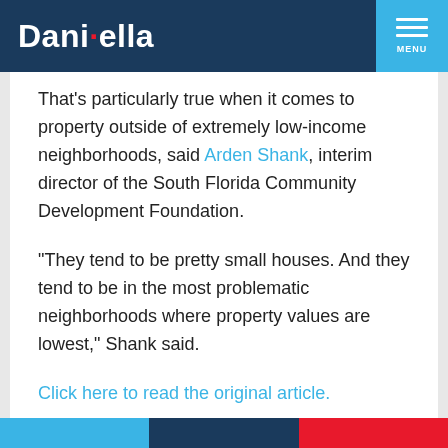Daniella
That's particularly true when it comes to property outside of extremely low-income neighborhoods, said Arden Shank, interim director of the South Florida Community Development Foundation.
“They tend to be pretty small houses. And they tend to be in the most problematic neighborhoods where property values are lowest,” Shank said.
Click here to read the original article.